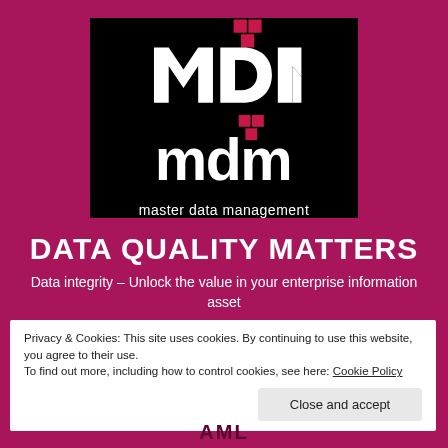[Figure (logo): MDM master data management logo — black background with white stylized 'mdm' letters and pink/magenta pixel squares above, with 'master data management' text below in white]
DATA QUALITY MATTERS
Data integrity – Unlock the value in your enterprise information asset
Privacy & Cookies: This site uses cookies. By continuing to use this website, you agree to their use.
To find out more, including how to control cookies, see here: Cookie Policy
Close and accept
AML